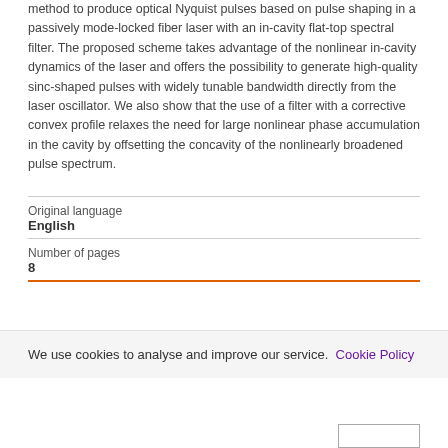method to produce optical Nyquist pulses based on pulse shaping in a passively mode-locked fiber laser with an in-cavity flat-top spectral filter. The proposed scheme takes advantage of the nonlinear in-cavity dynamics of the laser and offers the possibility to generate high-quality sinc-shaped pulses with widely tunable bandwidth directly from the laser oscillator. We also show that the use of a filter with a corrective convex profile relaxes the need for large nonlinear phase accumulation in the cavity by offsetting the concavity of the nonlinearly broadened pulse spectrum.
| Original language | English |
| Number of pages | 8 |
We use cookies to analyse and improve our service. Cookie Policy